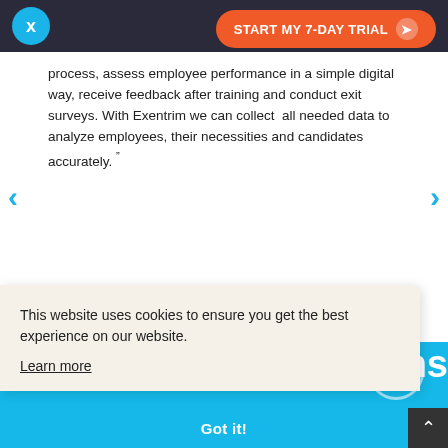[Figure (screenshot): Navigation bar with Exentrim logo (teal circle with X) and orange 'START MY 7-DAY TRIAL' button on dark background]
process, assess employee performance in a simple digital way, receive feedback after training and conduct exit surveys. With Exentrim we can collect all needed data to analyze employees, their necessities and candidates accurately. "
HR manager Alicia
[Figure (screenshot): Blue section partial view with white text 'ons' and 'a' visible on right side, with circle outline decoration]
This website uses cookies to ensure you get the best experience on our website.
Learn more
Got it!